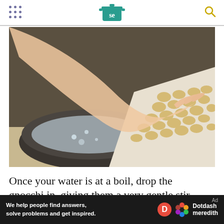Serious Eats (SE logo)
[Figure (photo): A hand dropping gnocchi pieces from a parchment-lined cutting board into a pot of boiling water on a stovetop.]
Once your water is at a boil, drop the gnocchi in, giving them a very gentle stir at the beginning to
We help people find answers, solve problems and get inspired. Dotdash meredith